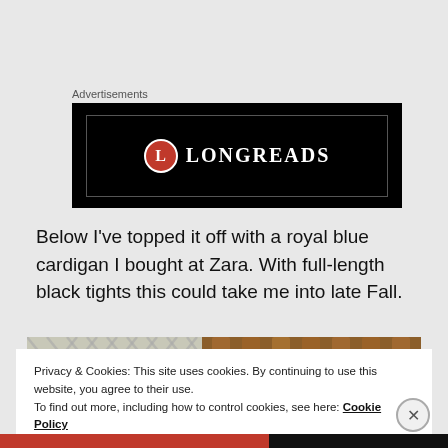Advertisements
[Figure (logo): Longreads advertisement banner with red circle L logo and LONGREADS text on black background]
Below I’ve topped it off with a royal blue cardigan I bought at Zara. With full-length black tights this could take me into late Fall.
[Figure (photo): Partial photo showing white lattice/trellis pattern and wooden fence/railing with a person visible]
Privacy & Cookies: This site uses cookies. By continuing to use this website, you agree to their use.
To find out more, including how to control cookies, see here: Cookie Policy